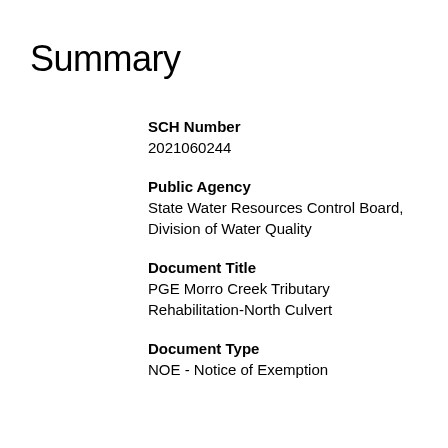Summary
SCH Number
2021060244
Public Agency
State Water Resources Control Board, Division of Water Quality
Document Title
PGE Morro Creek Tributary Rehabilitation-North Culvert
Document Type
NOE - Notice of Exemption